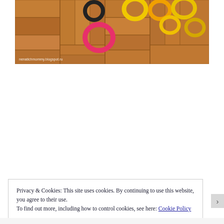[Figure (photo): A photo of colorful rubber ring toys/letters on a wooden parquet floor. Colors include black, yellow, and pink rings. A watermark reads 'nenatichmommy.blogspot.ru' in the bottom left.]
Privacy & Cookies: This site uses cookies. By continuing to use this website, you agree to their use.
To find out more, including how to control cookies, see here: Cookie Policy
Close and accept